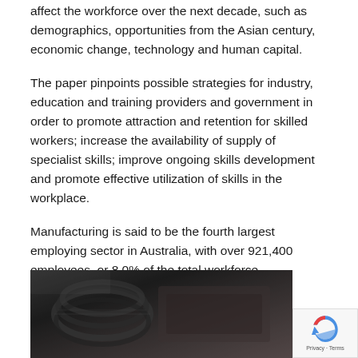affect the workforce over the next decade, such as demographics, opportunities from the Asian century, economic change, technology and human capital.
The paper pinpoints possible strategies for industry, education and training providers and government in order to promote attraction and retention for skilled workers; increase the availability of supply of specialist skills; improve ongoing skills development and promote effective utilization of skills in the workplace.
Manufacturing is said to be the fourth largest employing sector in Australia, with over 921,400 employees, or 8.0% of the total workforce.
[Figure (photo): Close-up photograph of industrial machinery or cables, dark toned image showing what appears to be a coiled cable or mechanical component against a dark background.]